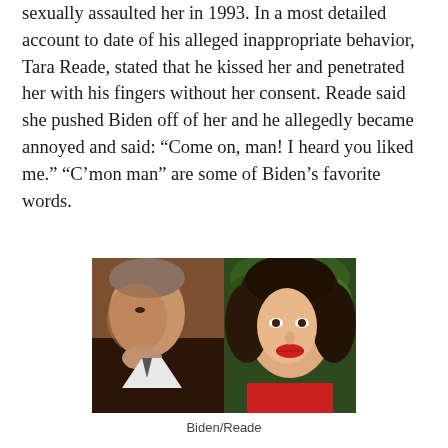sexually assaulted her in 1993. In a most detailed account to date of his alleged inappropriate behavior, Tara Reade, stated that he kissed her and penetrated her with his fingers without her consent. Reade said she pushed Biden off of her and he allegedly became annoyed and said: “Come on, man! I heard you liked me.” “C’mon man” are some of Biden’s favorite words.
[Figure (photo): Side-by-side photos of Biden (left, older man with hand raised to chin, thoughtful pose) and Reade (right, woman with curly dark hair, red lips)]
Biden/Reade